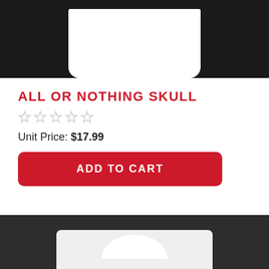[Figure (photo): White t-shirt folded flat on black background, showing the top portion]
ALL OR NOTHING SKULL
[Figure (other): Five empty star rating icons in a row]
Unit Price: $17.99
ADD TO CART
[Figure (photo): White t-shirt on dark background, showing bottom portion cropped]